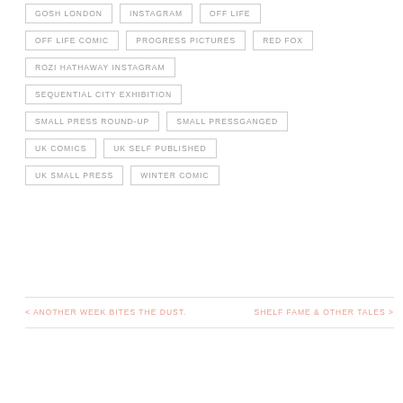GOSH LONDON
INSTAGRAM
OFF LIFE
OFF LIFE COMIC
PROGRESS PICTURES
RED FOX
ROZI HATHAWAY INSTAGRAM
SEQUENTIAL CITY EXHIBITION
SMALL PRESS ROUND-UP
SMALL PRESSGANGED
UK COMICS
UK SELF PUBLISHED
UK SMALL PRESS
WINTER COMIC
< ANOTHER WEEK BITES THE DUST.
SHELF FAME & OTHER TALES >